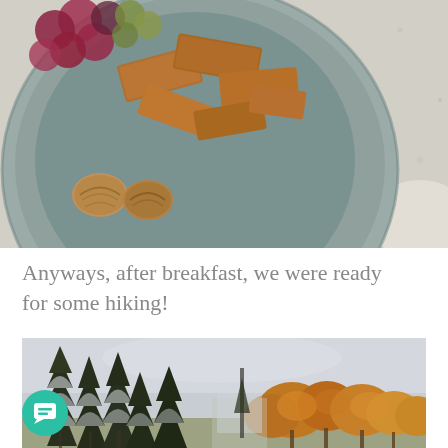[Figure (photo): Overhead view of a gray/blue ceramic plate with pieces of toasted brown bread/crackers, red and green grapes, and walnut halves, on a speckled granite countertop.]
Anyways, after breakfast, we were ready for some hiking!
[Figure (photo): Outdoor scenic photo showing tall evergreen trees with snow on branches on the left side, and a row of deciduous trees with autumn orange/yellow foliage on the right, under an overcast grey sky.]